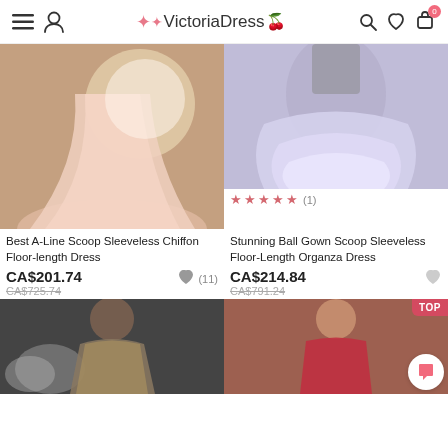VictoriaDress
[Figure (photo): Pink A-line chiffon floor-length dress on a model, warm studio lighting]
[Figure (photo): Purple/lavender tiered ball gown organza dress on a model]
★★★★★ (1)
Best A-Line Scoop Sleeveless Chiffon Floor-length Dress
CA$201.74
CA$725.74
(11)
Stunning Ball Gown Scoop Sleeveless Floor-Length Organza Dress
CA$214.84
CA$791.24
[Figure (photo): Gold embellished short sleeve dress on a model with smoky background]
[Figure (photo): Red lace corset style dress on a model against a brick wall]